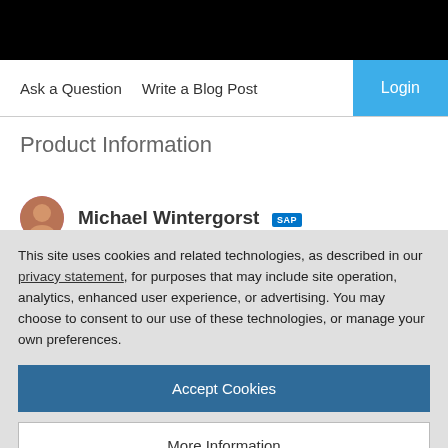Ask a Question   Write a Blog Post
Product Information
Michael Wintergorst SAP
This site uses cookies and related technologies, as described in our privacy statement, for purposes that may include site operation, analytics, enhanced user experience, or advertising. You may choose to consent to our use of these technologies, or manage your own preferences.
Accept Cookies
More Information
Privacy Policy | Powered by: TrustArc